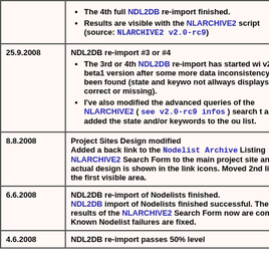| Date | Event |
| --- | --- |
|  | • The 4th full NDL2DB re-import finished.
• Results are visible with the NLARCHIVE2 script (source: NLARCHIVE2 v2.0-rc9) |
| 25.9.2008 | NDL2DB re-import #3 or #4
• The 3rd or 4th NDL2DB re-import has started wi... v2.02-beta1 version after some more data inconsistency has been found (state and keywo... not allways displays correct or missing).
• I've also modified the advanced queries of the NLARCHIVE2 ( see v2.0-rc9 infos ) search t... and added the state and/or keywords to the ou... list. |
| 8.8.2008 | Project Sites Design modified
Added a back link to the Nodelist Archive Listing NLARCHIVE2 Search Form to the main project site and... actual design is shown in the link icons. Moved 2nd li... into the first visible area. |
| 6.6.2008 | NDL2DB re-import of Nodelists finished.
NDL2DB import of Nodelists finished successful. The results of the NLARCHIVE2 Search Form now are com... Known Nodelist failures are fixed. |
| 4.6.2008 | NDL2DB re-import passes 50% level |